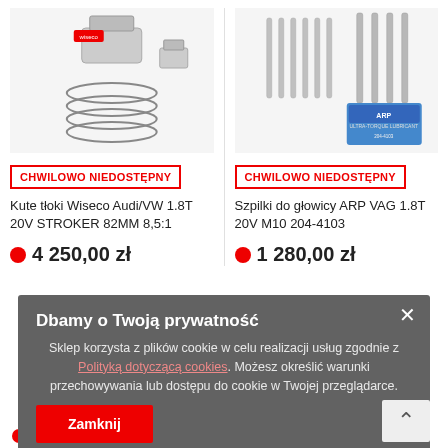[Figure (photo): Wiseco forged pistons kit for Audi/VW 1.8T 20V STROKER 82MM — product photo showing pistons and rings]
CHWILOWO NIEDOSTĘPNY
Kute tłoki Wiseco Audi/VW 1.8T 20V STROKER 82MM 8,5:1
4 250,00 zł
[Figure (photo): ARP head studs VAG 1.8T 20V M10 204-4103 — product photo showing studs and lubricant packet]
CHWILOWO NIEDOSTĘPNY
Szpilki do głowicy ARP VAG 1.8T 20V M10 204-4103
1 280,00 zł
Dbamy o Twoją prywatność
Sklep korzysta z plików cookie w celu realizacji usług zgodnie z Polityką dotyczącą cookies. Możesz określić warunki przechowywania lub dostępu do cookie w Twojej przeglądarce.
Zamknij
1 280,00 zł